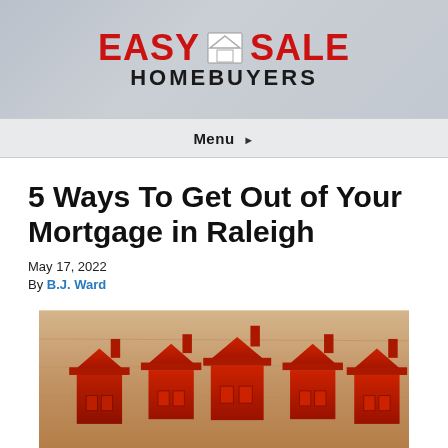[Figure (logo): Easy Sale Homebuyers logo with red text and house icon]
Menu ▸
5 Ways To Get Out of Your Mortgage in Raleigh
May 17, 2022
By B.J. Ward
[Figure (photo): Five small red plastic toy houses arranged in a row on a wooden surface]